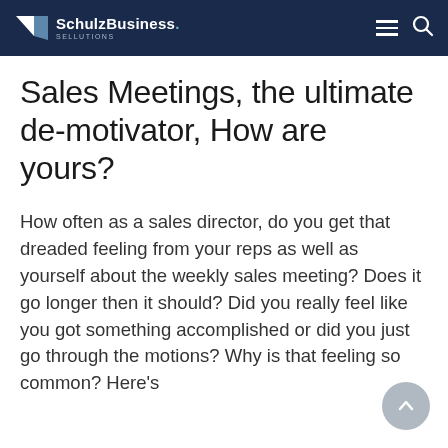SchulzBusiness. SELLUTIONS
Sales Meetings, the ultimate de-motivator, How are yours?
How often as a sales director, do you get that dreaded feeling from your reps as well as yourself about the weekly sales meeting? Does it go longer then it should? Did you really feel like you got something accomplished or did you just go through the motions? Why is that feeling so common? Here's